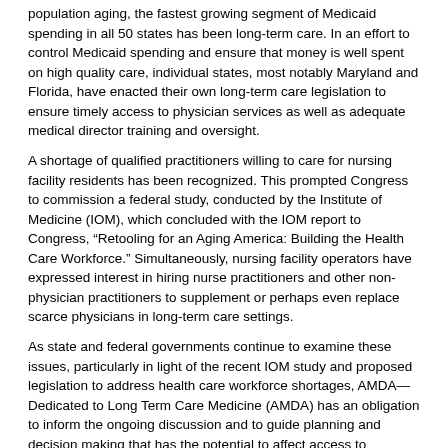population aging, the fastest growing segment of Medicaid spending in all 50 states has been long-term care. In an effort to control Medicaid spending and ensure that money is well spent on high quality care, individual states, most notably Maryland and Florida, have enacted their own long-term care legislation to ensure timely access to physician services as well as adequate medical director training and oversight.
A shortage of qualified practitioners willing to care for nursing facility residents has been recognized. This prompted Congress to commission a federal study, conducted by the Institute of Medicine (IOM), which concluded with the IOM report to Congress, “Retooling for an Aging America: Building the Health Care Workforce.” Simultaneously, nursing facility operators have expressed interest in hiring nurse practitioners and other non-physician practitioners to supplement or perhaps even replace scarce physicians in long-term care settings.
As state and federal governments continue to examine these issues, particularly in light of the recent IOM study and proposed legislation to address health care workforce shortages, AMDA—Dedicated to Long Term Care Medicine (AMDA) has an obligation to inform the ongoing discussion and to guide planning and decision making that has the potential to affect access to attending physician and medical director services in long-term care, as well as the quality of care overall. AMDA is committed to promoting the highest possible quality of care for many of the nation's most vulnerable and needy citizens.